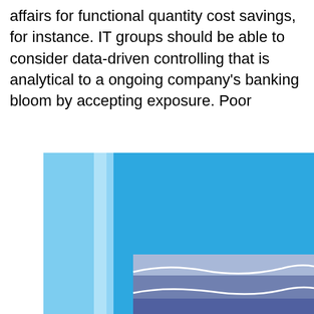affairs for functional quantity cost savings, for instance. IT groups should be able to consider data-driven controlling that is analytical to a ongoing company's banking bloom by accepting exposure. Poor
[Figure (illustration): Abstract blue-toned illustration with layered bands of color — bright sky blue background, lighter blue vertical strips on the left, and a lower section showing layered purple/periwinkle and darker blue-grey tones separated by a wavy white line.]